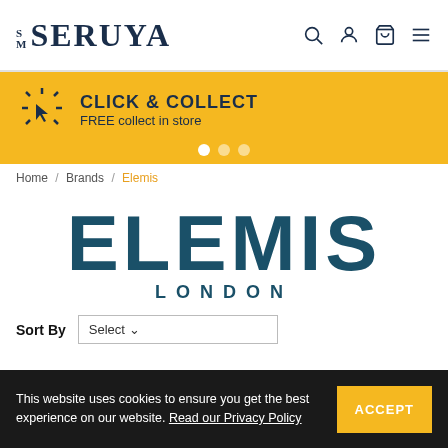SM SERUYA
[Figure (infographic): Yellow banner with cursor/click icon and text: CLICK & COLLECT, FREE collect in store, with carousel dots]
Home / Brands / Elemis
[Figure (logo): ELEMIS LONDON brand logo in teal/dark blue color]
Sort By  Select
This website uses cookies to ensure you get the best experience on our website. Read our Privacy Policy